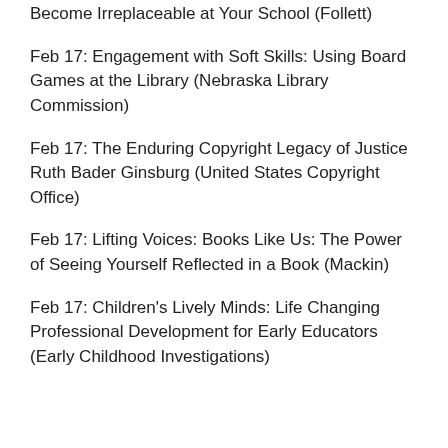Become Irreplaceable at Your School (Follett)
Feb 17: Engagement with Soft Skills: Using Board Games at the Library (Nebraska Library Commission)
Feb 17: The Enduring Copyright Legacy of Justice Ruth Bader Ginsburg (United States Copyright Office)
Feb 17: Lifting Voices: Books Like Us: The Power of Seeing Yourself Reflected in a Book (Mackin)
Feb 17: Children's Lively Minds: Life Changing Professional Development for Early Educators (Early Childhood Investigations)